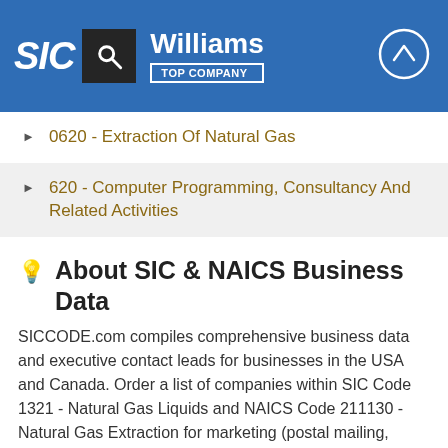SIC Williams TOP COMPANY
0620 - Extraction Of Natural Gas
620 - Computer Programming, Consultancy And Related Activities
About SIC & NAICS Business Data
SICCODE.com compiles comprehensive business data and executive contact leads for businesses in the USA and Canada. Order a list of companies within SIC Code 1321 - Natural Gas Liquids and NAICS Code 211130 - Natural Gas Extraction for marketing (postal mailing, telemarketing, executive emailing) or analytics-use. Our